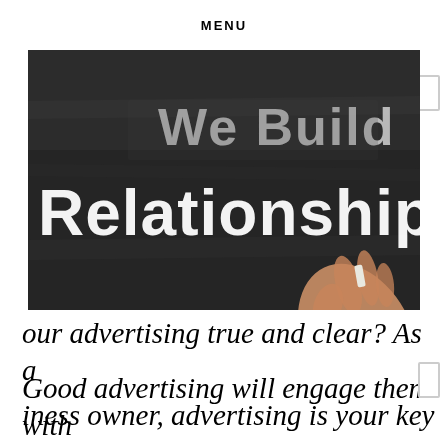MENU
[Figure (photo): Photograph of a chalkboard with text 'We Build Relationships' written in chalk, with a hand holding chalk visible in the right portion of the image.]
PREVIOUS POST
NEXT POST
our advertising true and clear? As a business owner, advertising is your key to getting your message across to your customers.
Good advertising will engage them with